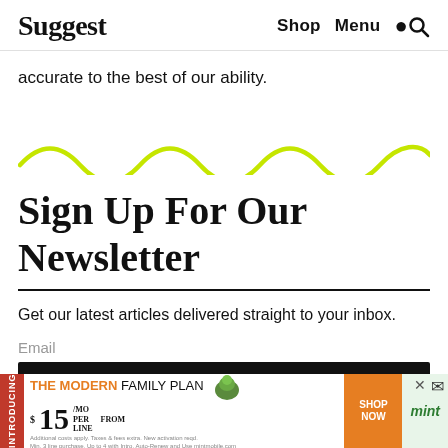Suggest  Shop  Menu
accurate to the best of our ability.
[Figure (illustration): Yellow-green wavy decorative line divider]
Sign Up For Our Newsletter
Get our latest articles delivered straight to your inbox.
Email
[Figure (infographic): Mint Mobile advertisement banner: 'THE MODERN FAMILY PLAN $15/MO FROM PER LINE SHOP NOW mint mobile']